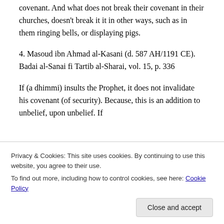covenant. And what does not break their covenant in their churches, doesn't break it it in other ways, such as in them ringing bells, or displaying pigs.
4. Masoud ibn Ahmad al-Kasani (d. 587 AH/1191 CE). Badai al-Sanai fi Tartib al-Sharai, vol. 15, p. 336
If (a dhimmi) insults the Prophet, it does not invalidate his covenant (of security). Because, this is an addition to unbelief, upon unbelief. If
Privacy & Cookies: This site uses cookies. By continuing to use this website, you agree to their use.
To find out more, including how to control cookies, see here: Cookie Policy
Kitab, vol. 2, p. 765